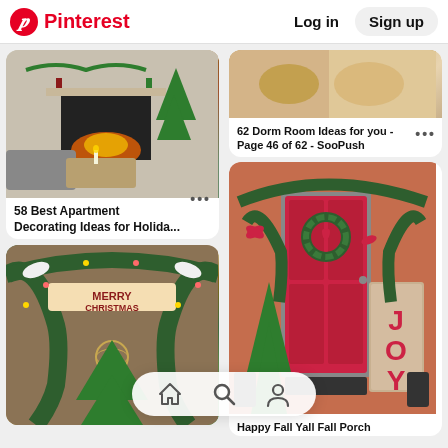Pinterest  Log in  Sign up
[Figure (photo): Christmas decorated apartment living room with fireplace, Christmas tree, and holiday decor]
58 Best Apartment Decorating Ideas for Holida...
[Figure (photo): Dorm room photo - partial view]
62 Dorm Room Ideas for you - Page 46 of 62 - SooPush
[Figure (photo): Front porch decorated for Christmas with red door, JOY sign, wreaths, and garland]
Happy Fall Yall Fall Porch
[Figure (photo): Merry Christmas garland archway decoration with banner and Christmas tree]